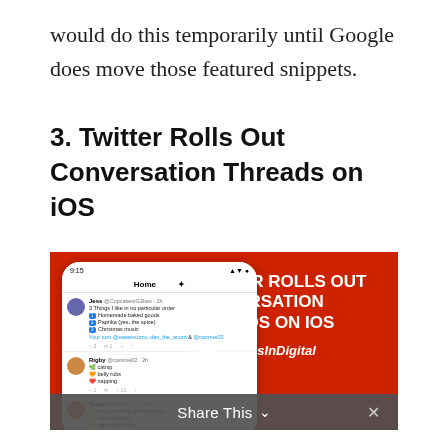would do this temporarily until Google does move those featured snippets.
3. Twitter Rolls Out Conversation Threads on iOS
[Figure (screenshot): Screenshot of Twitter mobile app showing conversation threads on iOS, with a red background. The phone shows tweets from Jess, Rigby, Suzie, and Clive. The right side shows text 'TWITTER ROLLS OUT CONVERSATION THREADS ON IOS' and '#NewThingsInDigital'. A 'Share This' bar appears at the bottom.]